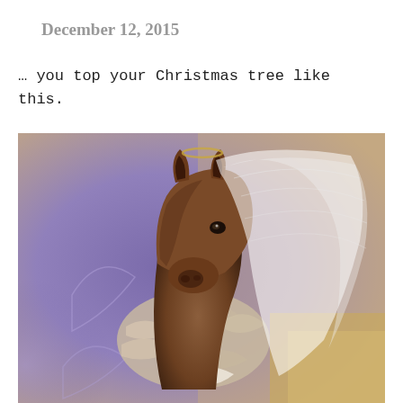December 12, 2015
… you top your Christmas tree like this.
[Figure (photo): A horse figurine dressed as a bride with a veil and lace ruffled collar/dress, serving as a Christmas tree topper. The background is purple/lavender with soft light effects.]